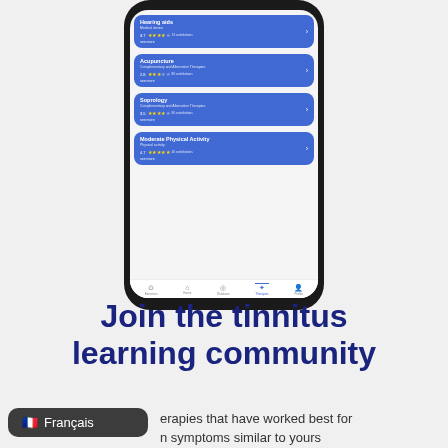[Figure (screenshot): Smartphone screenshot showing a tinnitus therapy app with treatment cards: Hearing aids, Acupuncture, Soprology, and Moderate Physical Activity. Each card shows star ratings, review count, and a see more link. Navigation bar at bottom with icons for Exercises, Home, Database, Therapies (active), Profile.]
Join the tinnitus learning community
therapies that have worked best for n symptoms similar to yours
🇫🇷 Français